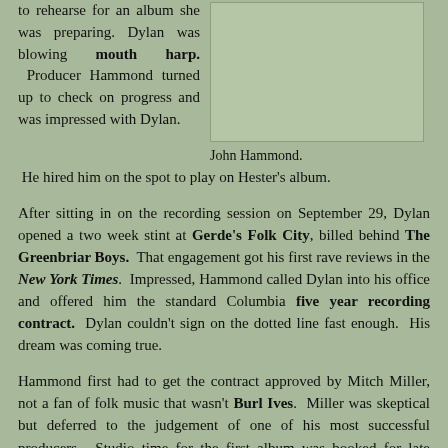to rehearse for an album she was preparing. Dylan was blowing mouth harp. Producer Hammond turned up to check on progress and was impressed with Dylan. He hired him on the spot to play on Hester's album.
John Hammond.
After sitting in on the recording session on September 29, Dylan opened a two week stint at Gerde's Folk City, billed behind The Greenbriar Boys. That engagement got his first rave reviews in the New York Times. Impressed, Hammond called Dylan into his office and offered him the standard Columbia five year recording contract. Dylan couldn't sign on the dotted line fast enough. His dream was coming true.
Hammond first had to get the contract approved by Mitch Miller, not a fan of folk music that wasn't Burl Ives. Miller was skeptical but deferred to the judgement of one of his most successful producers. Studio time for the first album was booked for late November.
Dylan spent the next weeks frantically search Carla Rotolo's and